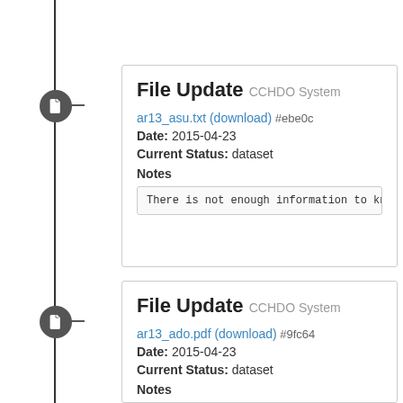File Update CCHDO System
ar13_asu.txt (download) #ebe0c
Date: 2015-04-23
Current Status: dataset
Notes
There is not enough information to know whe
File Update CCHDO System
ar13_ado.pdf (download) #9fc64
Date: 2015-04-23
Current Status: dataset
Notes